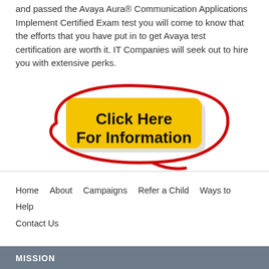and passed the Avaya Aura® Communication Applications Implement Certified Exam test you will come to know that the efforts that you have put in to get Avaya test certification are worth it. IT Companies will seek out to hire you with extensive perks.
[Figure (infographic): A yellow rounded rectangle button with bold black text reading 'Click Here For Information', surrounded by a hand-drawn red oval/circle with a tail, resembling a speech bubble or emphasis circle.]
Home   About   Campaigns   Refer a Child   Ways to Help   Contact Us
MISSION